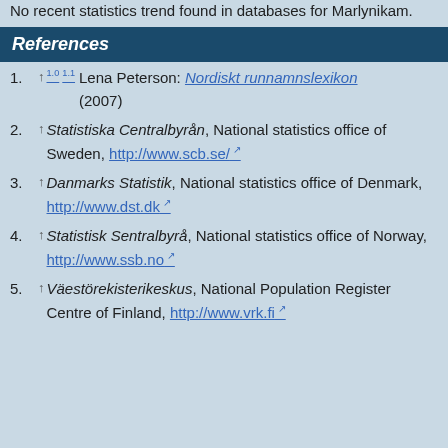No recent statistics trend found in databases for Marlynikam.
References
1. ↑ 1.0 1.1 Lena Peterson: Nordiskt runnamnslexikon (2007)
2. ↑ Statistiska Centralbyrån, National statistics office of Sweden, http://www.scb.se/
3. ↑ Danmarks Statistik, National statistics office of Denmark, http://www.dst.dk
4. ↑ Statistisk Sentralbyrå, National statistics office of Norway, http://www.ssb.no
5. ↑ Väestörekisterikeskus, National Population Register Centre of Finland, http://www.vrk.fi